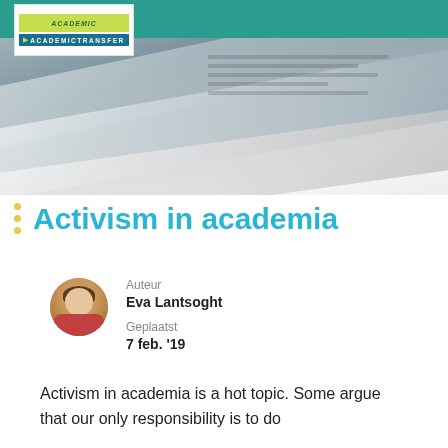[Figure (photo): Header image showing rolled/folded newspapers in grayscale, with a teal navigation bar at the top and an Academic Transfer logo in the upper left corner.]
Activism in academia
Auteur
Eva Lantsoght
Geplaatst
7 feb. '19
Activism in academia is a hot topic. Some argue that our only responsibility is to do